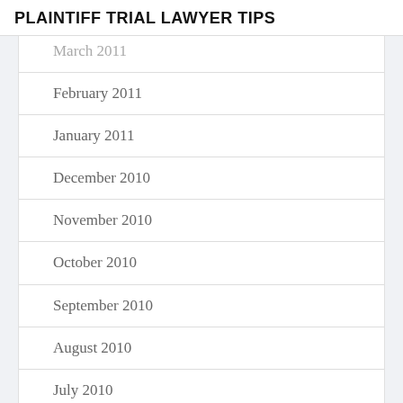PLAINTIFF TRIAL LAWYER TIPS
March 2011
February 2011
January 2011
December 2010
November 2010
October 2010
September 2010
August 2010
July 2010
June 2010
May 2010